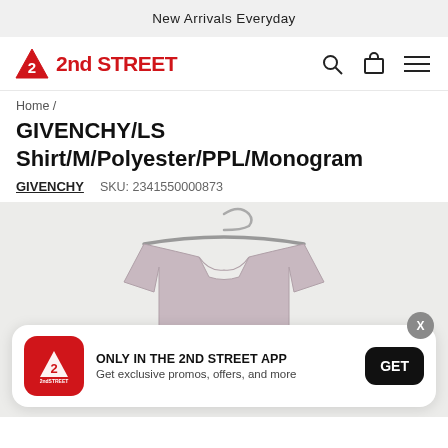New Arrivals Everyday
[Figure (logo): 2nd STREET logo with red triangle and bold red text]
Home /
GIVENCHY/LS Shirt/M/Polyester/PPL/Monogram
GIVENCHY   SKU: 2341550000873
[Figure (photo): Light purple/mauve long sleeve shirt on a hanger against a light grey background]
ONLY IN THE 2ND STREET APP
Get exclusive promos, offers, and more